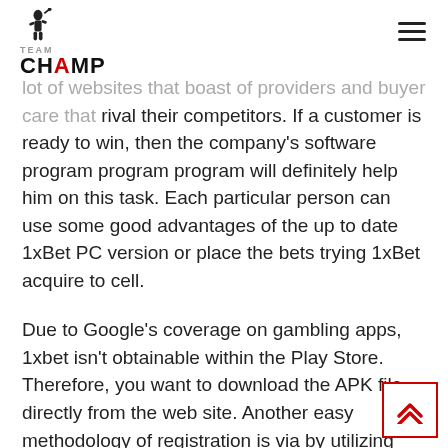TEAM CHAMP
lot of websites that boast of providers and buyer care that rival their competitors. If a customer is ready to win, then the company's software program program program will definitely help him on this task. Each particular person can use some good advantages of the up to date 1xBet PC version or place the bets trying 1xBet acquire to cell.
Due to Google's coverage on gambling apps, 1xbet isn't obtainable within the Play Store. Therefore, you want to download the APK file directly from the web site. Another easy methodology of registration is via by utilizing your phone number.
Displaying the matches because it is being played and preserving an update of the primary points of the stay matches whereas betting. It also lets you guess on any sport